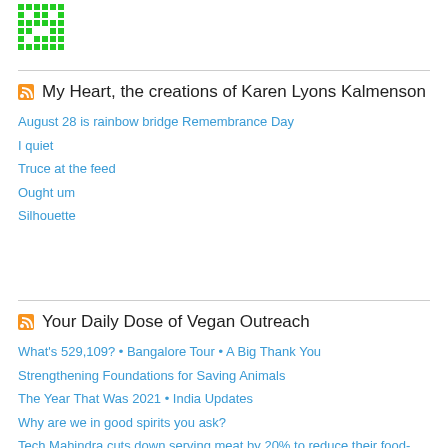[Figure (logo): Green pixel/QR-style logo icon at top left]
My Heart, the creations of Karen Lyons Kalmenson
August 28 is rainbow bridge Remembrance Day
I quiet
Truce at the feed
Ought um
Silhouette
Your Daily Dose of Vegan Outreach
What's 529,109? • Bangalore Tour • A Big Thank You
Strengthening Foundations for Saving Animals
The Year That Was 2021 • India Updates
Why are we in good spirits you ask?
Tech Mahindra cuts down serving meat by 20% to reduce their food-related carbon footprint